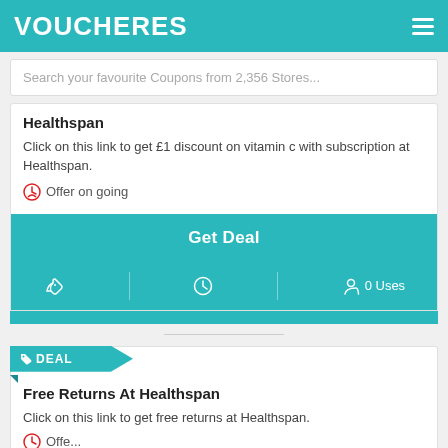VOUCHERES
Search your favourite Coupons from 2,356 Stores...
Healthspan
Click on this link to get £1 discount on vitamin c with subscription at Healthspan.
Offer on going
Get Deal
0 Uses
DEAL
Free Returns At Healthspan
Click on this link to get free returns at Healthspan.
Offer on going